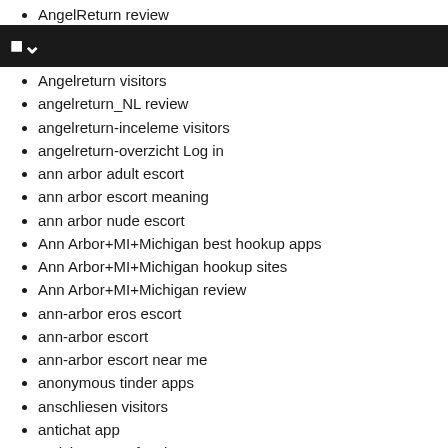AngelReturn review
Angelreturn visitors
angelreturn_NL review
angelreturn-inceleme visitors
angelreturn-overzicht Log in
ann arbor adult escort
ann arbor escort meaning
ann arbor nude escort
Ann Arbor+MI+Michigan best hookup apps
Ann Arbor+MI+Michigan hookup sites
Ann Arbor+MI+Michigan review
ann-arbor eros escort
ann-arbor escort
ann-arbor escort near me
anonymous tinder apps
anschliesen visitors
antichat app
antichat come funziona
antichat crediti gratuiti
antichat cs reviews
antichat de reviews
antichat es review
antichat it review